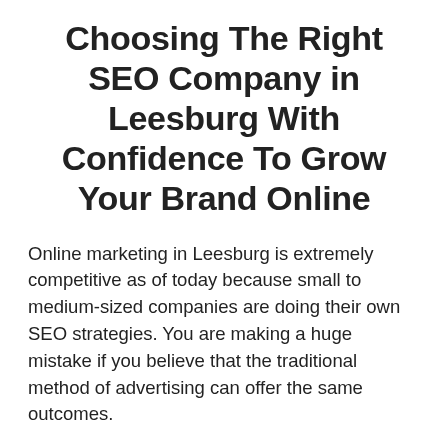Choosing The Right SEO Company in Leesburg With Confidence To Grow Your Brand Online
Online marketing in Leesburg is extremely competitive as of today because small to medium-sized companies are doing their own SEO strategies. You are making a huge mistake if you believe that the traditional method of advertising can offer the same outcomes.
If you'll invest in SEO services in Leesburg, you may ensure that your company will have the chance to contend with other local businesses. You'll miss plenty of fantastic opportunities if you'll disregard this marketing strategy.